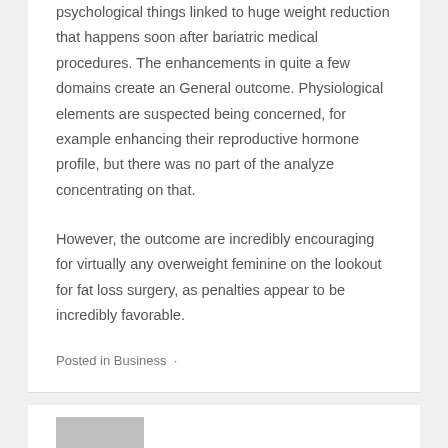psychological things linked to huge weight reduction that happens soon after bariatric medical procedures. The enhancements in quite a few domains create an General outcome. Physiological elements are suspected being concerned, for example enhancing their reproductive hormone profile, but there was no part of the analyze concentrating on that.
However, the outcome are incredibly encouraging for virtually any overweight feminine on the lookout for fat loss surgery, as penalties appear to be incredibly favorable.
Posted in Business ·
[Figure (photo): Partial thumbnail image placeholder (gray rectangle) at bottom of page]